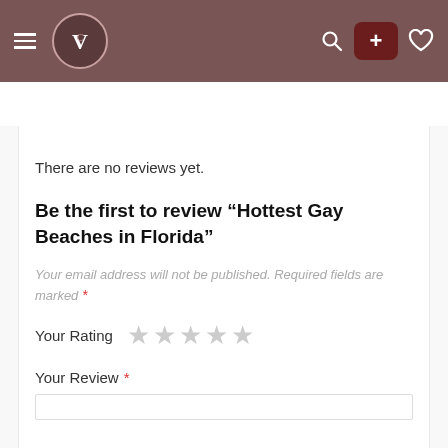Navigation header with logo, hamburger menu, search, plus button, and heart icon
Description  Videos  Reviews (0)
There are no reviews yet.
Be the first to review “Hottest Gay Beaches in Florida”
Your email address will not be published. Required fields are marked *
Your Rating ★★★★★
Your Review *